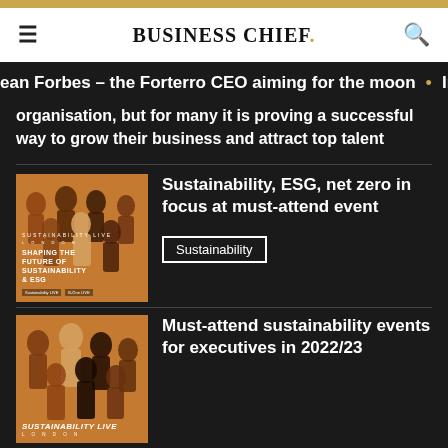BUSINESS CHIEF.
ean Forbes – the Forterro CEO aiming for the moon • Ir
organisation, but for many it is proving a successful way to grow their business and attract top talent
[Figure (photo): Sustainability Live London event poster showing 'Shaping the Future of Sustainability & ESG' with group of people on orange background]
Sustainability, ESG, net zero in focus at must-attend event
Sustainability
[Figure (photo): Sustainability Live London event poster with group of people on orange background]
Must-attend sustainability events for executives in 2022/23